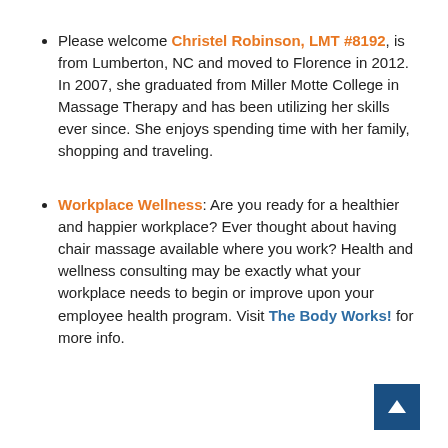Please welcome Christel Robinson, LMT #8192, is from Lumberton, NC and moved to Florence in 2012. In 2007, she graduated from Miller Motte College in Massage Therapy and has been utilizing her skills ever since. She enjoys spending time with her family, shopping and traveling.
Workplace Wellness: Are you ready for a healthier and happier workplace? Ever thought about having chair massage available where you work? Health and wellness consulting may be exactly what your workplace needs to begin or improve upon your employee health program. Visit The Body Works! for more info.